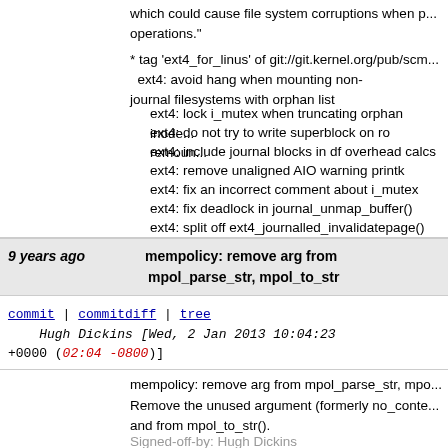various bug lines for OHCI. Perhaps the most critical of which could cause file system corruptions when p... operations."
* tag 'ext4_for_linus' of git://git.kernel.org/pub/scm...
ext4: avoid hang when mounting non-journal filesystems with orphan list
ext4: lock i_mutex when truncating orphan inode...
ext4: do not try to write superblock on ro remoun...
ext4: include journal blocks in df overhead calcs
ext4: remove unaligned AIO warning printk
ext4: fix an incorrect comment about i_mutex
ext4: fix deadlock in journal_unmap_buffer()
ext4: split off ext4_journalled_invalidatepage()
jbd2: fix assertion failure in jbd2_journal_flush()
ext4: check dioread_nolock on remount
ext4: fix extent tree corruption caused by hole pu...
9 years ago   mempolicy: remove arg from mpol_parse_str, mpol_to_str
commit | commitdiff | tree   Hugh Dickins [Wed, 2 Jan 2013 10:04:23 +0000 (02:04 -0800)]
mempolicy: remove arg from mpol_parse_str, mpo...
Remove the unused argument (formerly no_conte... and from mpol_to_str().
Signed-off-by: Hugh Dickins